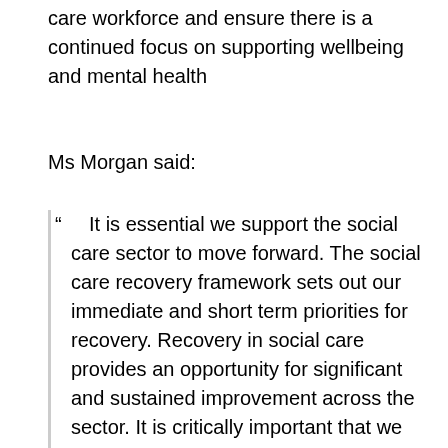care workforce and ensure there is a continued focus on supporting wellbeing and mental health
Ms Morgan said:
“ It is essential we support the social care sector to move forward. The social care recovery framework sets out our immediate and short term priorities for recovery. Recovery in social care provides an opportunity for significant and sustained improvement across the sector. It is critically important that we use this recovery period to lay the right foundations for the future of social care in Wales, in line with our longer-term ambitions in the Programme for Government, and ensure the risk of COVID-19 entering care homes is minimised and